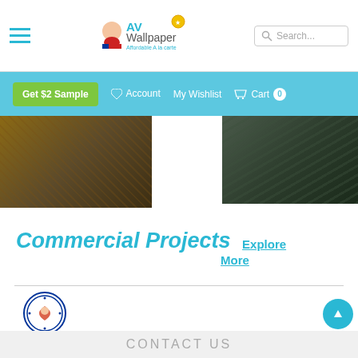AV Wallpaper — Navigation header with hamburger menu, logo, and search box
Get $2 Sample   Account   My Wishlist   Cart 0
[Figure (photo): Two photos partially visible: left shows a dark brown textured wallpaper or interior, right shows a dark greenish-grey fabric or wallpaper.]
Commercial Projects   Explore More
[Figure (logo): Government of South Australia, Country Health SA circular seal logo]
CONTACT US